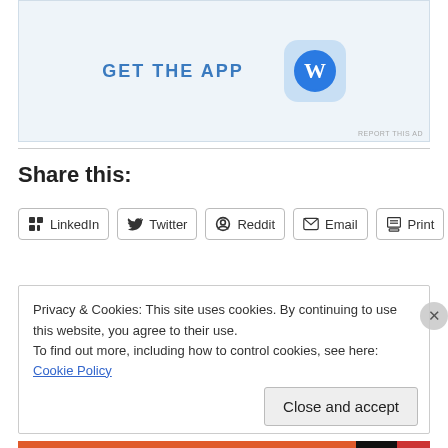[Figure (screenshot): App advertisement banner with 'GET THE APP' text and WordPress app icon on light blue background, with 'REPORT THIS AD' small text in corner]
Share this:
LinkedIn
Twitter
Reddit
Email
Print
Loading...
Privacy & Cookies: This site uses cookies. By continuing to use this website, you agree to their use.
To find out more, including how to control cookies, see here: Cookie Policy